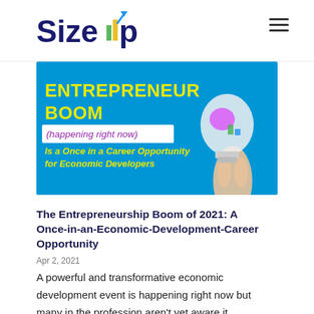SizeUp
[Figure (illustration): Promotional banner image with blue background showing text: ENTREPRENEUR BOOM (happening right now) Is a Once in a Career Opportunity for Economic Developers, with a colorful lightbulb illustration on the right.]
The Entrepreneurship Boom of 2021: A Once-in-an-Economic-Development-Career Opportunity
Apr 2, 2021
A powerful and transformative economic development event is happening right now but many in the profession aren't yet aware it